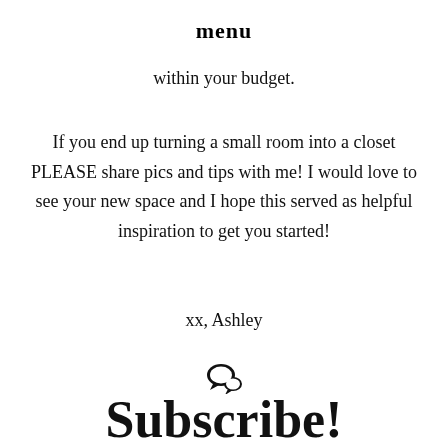menu
within your budget.
If you end up turning a small room into a closet PLEASE share pics and tips with me! I would love to see your new space and I hope this served as helpful inspiration to get you started!
xx, Ashley
[Figure (illustration): Small speech bubble / comment icon]
Subscribe!